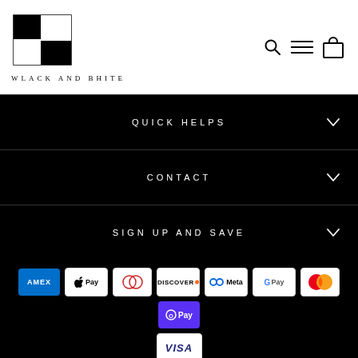[Figure (logo): Wlack and Bhite logo — black and white checkerboard squares graphic above brand name]
WLACK AND BHITE
QUICK HELPS
CONTACT
SIGN UP AND SAVE
[Figure (other): Payment method icons: American Express, Apple Pay, Diners Club, Discover, Meta Pay, Google Pay, Mastercard, OPay, Visa]